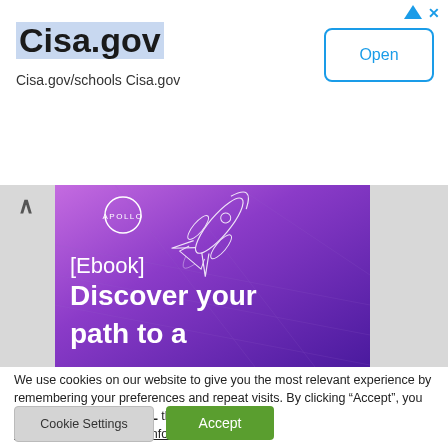[Figure (screenshot): Ad banner for Cisa.gov with Open button, ad triangle and X icons in top right]
[Figure (illustration): Apollo ebook advertisement banner with purple/violet gradient background showing a rocket and text '[Ebook] Discover your path to a']
We use cookies on our website to give you the most relevant experience by remembering your preferences and repeat visits. By clicking “Accept”, you consent to the use of ALL the cookies.
Do not sell my personal information.